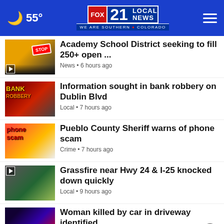55° FOX 21 LOCAL NEWS WE ARE SOUTHERN COLORADO
Academy School District seeking to fill 250+ open ...
News • 6 hours ago
Information sought in bank robbery on Dublin Blvd
Local • 7 hours ago
Pueblo County Sheriff warns of phone scam
Crime • 7 hours ago
Grassfire near Hwy 24 & I-25 knocked down quickly
Local • 9 hours ago
Woman killed by car in driveway identified
News • 9 hours ago
Ashburn  OPEN | 10:30AM–9PM  44155 Ashbrook Marketplace, ...
FOX 21 Mornings • 10 hours ago